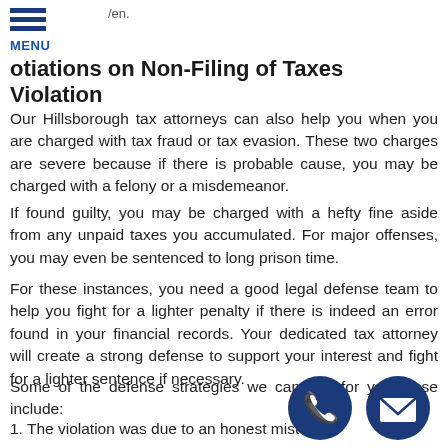/en.
otiations on Non-Filing of Taxes Violation
Our Hillsborough tax attorneys can also help you when you are charged with tax fraud or tax evasion. These two charges are severe because if there is probable cause, you may be charged with a felony or a misdemeanor.
If found guilty, you may be charged with a hefty fine aside from any unpaid taxes you accumulated. For major offenses, you may even be sentenced to long prison time.
For these instances, you need a good legal defense team to help you fight for a lighter penalty if there is indeed an error found in your financial records. Your dedicated tax attorney will create a strong defense to support your interest and fight for a lighter sentence if necessary.
Some of the defense strategies we can use for your case include:
1. The violation was due to an honest mist...
[Figure (illustration): Phone call icon - dark blue circular button with white telephone handset symbol]
[Figure (illustration): Email icon - dark blue circular button with white envelope symbol]